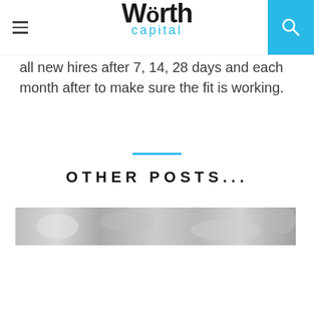Worth Capital
all new hires after 7, 14, 28 days and each month after to make sure the fit is working.
OTHER POSTS...
[Figure (photo): Partial image of a blog post thumbnail, black and white style]